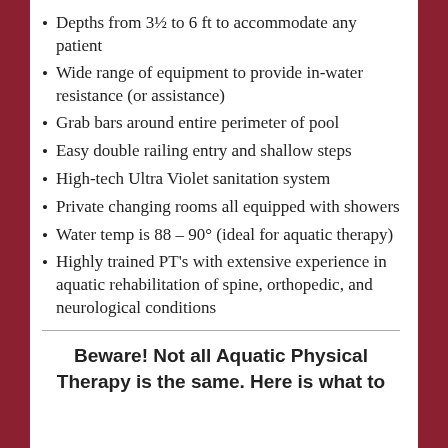Depths from 3½ to 6 ft to accommodate any patient
Wide range of equipment to provide in-water resistance (or assistance)
Grab bars around entire perimeter of pool
Easy double railing entry and shallow steps
High-tech Ultra Violet sanitation system
Private changing rooms all equipped with showers
Water temp is 88 – 90° (ideal for aquatic therapy)
Highly trained PT's with extensive experience in aquatic rehabilitation of spine, orthopedic, and neurological conditions
Beware! Not all Aquatic Physical Therapy is the same. Here is what to